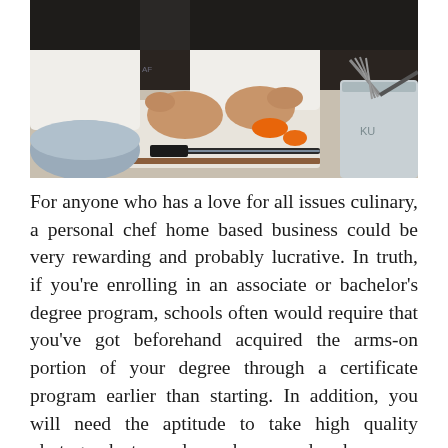[Figure (photo): A chef's hands cutting or preparing an orange/carrot ingredient on a white cutting board, with a knife resting beside, stainless steel bowls and a whisk visible in the background kitchen setting.]
For anyone who has a love for all issues culinary, a personal chef home based business could be very rewarding and probably lucrative. In truth, if you're enrolling in an associate or bachelor's degree program, schools often would require that you've got beforehand acquired the arms-on portion of your degree through a certificate program earlier than starting. In addition, you will need the aptitude to take high quality photographs to send, a webcam, and perhaps